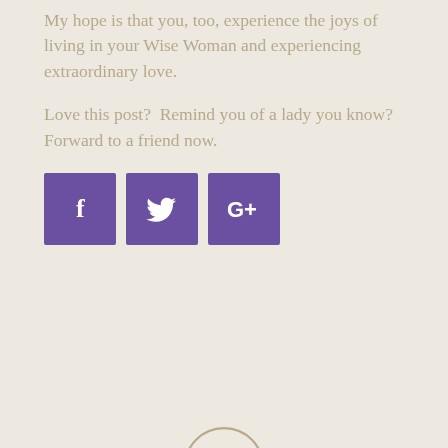My hope is that you, too, experience the joys of living in your Wise Woman and experiencing extraordinary love.
Love this post?  Remind you of a lady you know?  Forward to a friend now.
[Figure (infographic): Three social media share buttons: Facebook (f), Twitter (bird), and Google+ (G+), each as a purple square icon.]
[Figure (logo): Partial circular logo visible at the bottom center of the page.]